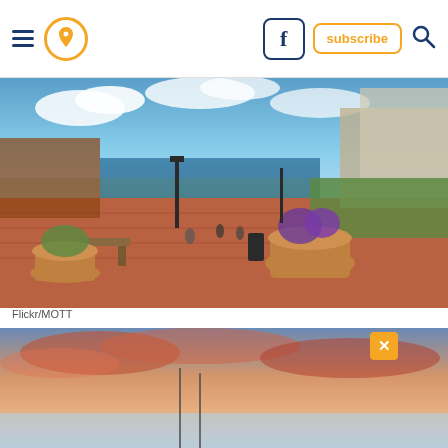Navigation bar with hamburger menu, location pin icon, Facebook button, subscribe button, and search icon
[Figure (photo): Waterfront harbor promenade with brick walkway, flower pots, benches, boats on water, and city buildings in background under blue sky]
Flickr/MOTT
8. It's hard to find a seaside spot on Cape Cod that isn't photogenic, but Wellfleet harbor can be particularly beautiful around sunset.
[Figure (photo): Sunset sky with pink and orange clouds over a harbor with masts visible, with an X close button in upper right]